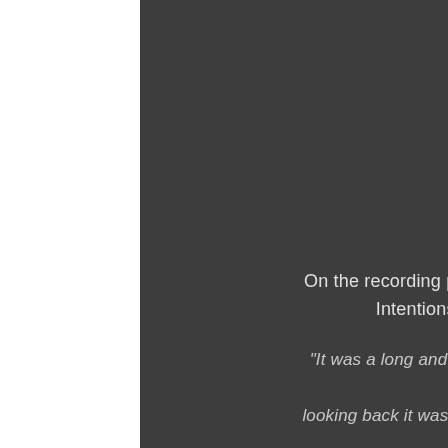On the recording process The Cruel Intentions explain:
"It was a long and brutal process but looking back it was a lot of fun as well.